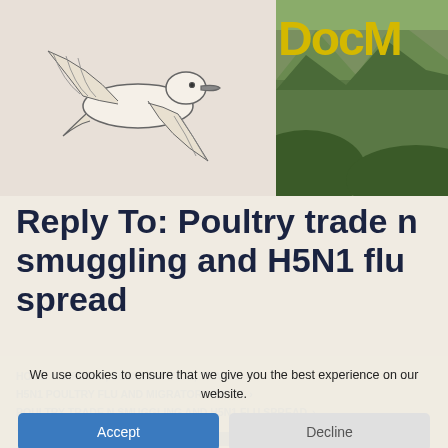[Figure (illustration): Header area with two panels: left panel shows a line drawing illustration of a bird (seabird/petrel) in flight on a beige/cream background; right panel shows a photo of green hills/mountains with 'DocM' text in yellow bold font overlaid.]
Reply To: Poultry trade n smuggling and H5N1 flu spread
HOME › BIRDING, CONSERVATION, TRAVEL › H5N1 POULTRY FLU AND MIGRATORY BIRDS › POULTRY TRADE N SMUGGLING AND H5N1 FLU SPREAD ›
NO TITLE
We use cookies to ensure that we give you the best experience on our website.
Accept
Decline